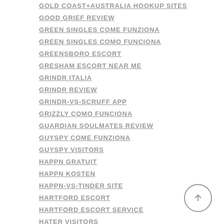GOLD COAST+AUSTRALIA HOOKUP SITES
GOOD GRIEF REVIEW
GREEN SINGLES COME FUNZIONA
GREEN SINGLES COMO FUNCIONA
GREENSBORO ESCORT
GRESHAM ESCORT NEAR ME
GRINDR ITALIA
GRINDR REVIEW
GRINDR-VS-SCRUFF APP
GRIZZLY COMO FUNCIONA
GUARDIAN SOULMATES REVIEW
GUYSPY COME FUNZIONA
GUYSPY VISITORS
HAPPN GRATUIT
HAPPN KOSTEN
HAPPN-VS-TINDER SITE
HARTFORD ESCORT
HARTFORD ESCORT SERVICE
HATER VISITORS
HAYWARD ESCORT SITES
HEATED AFFAIRS VISITORS
HER SIGN IN
HERPES DATING ADULT